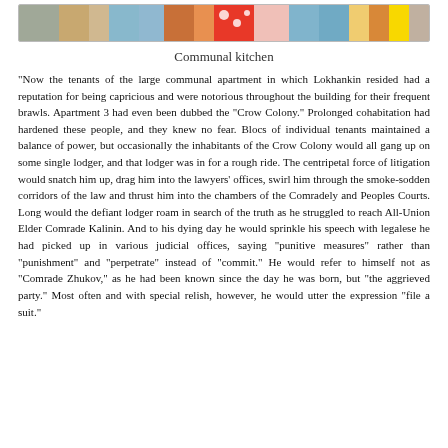[Figure (photo): A colorful photograph strip showing a communal kitchen scene with various bright colors including red polka dots, blues, and oranges.]
Communal kitchen
“Now the tenants of the large communal apartment in which Lokhankin resided had a reputation for being capricious and were notorious throughout the building for their frequent brawls. Apartment 3 had even been dubbed the “Crow Colony.” Prolonged cohabitation had hardened these people, and they knew no fear. Blocs of individual tenants maintained a balance of power, but occasionally the inhabitants of the Crow Colony would all gang up on some single lodger, and that lodger was in for a rough ride. The centripetal force of litigation would snatch him up, drag him into the lawyers’ offices, swirl him through the smoke-sodden corridors of the law and thrust him into the chambers of the Comradely and Peoples Courts. Long would the defiant lodger roam in search of the truth as he struggled to reach All-Union Elder Comrade Kalinin. And to his dying day he would sprinkle his speech with legalese he had picked up in various judicial offices, saying “punitive measures” rather than “punishment” and “perpetrate” instead of “commit.” He would refer to himself not as “Comrade Zhukov,” as he had been known since the day he was born, but “the aggrieved party.” Most often and with special relish, however, he would utter the expression “file a suit.”